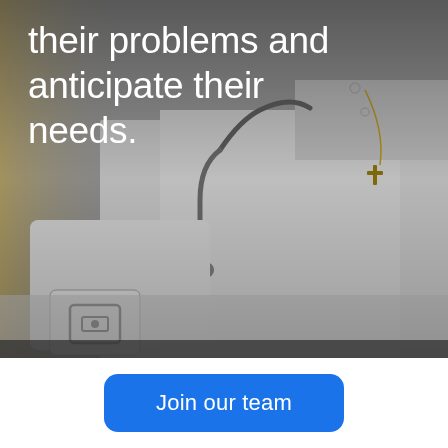[Figure (photo): Background photo of a medical professional wearing white, with a stethoscope and cross necklace visible. A Square card reader is visible in the lower left. The upper portion has white overlay text.]
their problems and anticipate their needs.
Join our team